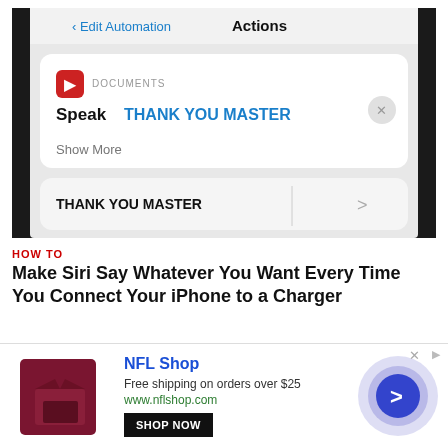[Figure (screenshot): iPhone screen showing iOS Shortcuts/Automation 'Actions' panel with 'Edit Automation' back button. A Documents action card shows 'Speak THANK YOU MASTER' with a Show More option. Below is a row with 'THANK YOU MASTER' text and a chevron arrow.]
HOW TO
Make Siri Say Whatever You Want Every Time You Connect Your iPhone to a Charger
[Figure (screenshot): Partial screenshot showing iPhone screen with a charger connected and Shortcuts/Shortcuts app visible.]
[Figure (other): Advertisement banner for NFL Shop. Shows dark red NFL shop icon/logo, text: 'NFL Shop', 'Free shipping on orders over $25', 'www.nflshop.com', a 'SHOP NOW' button, and a circular arrow button on the right.]